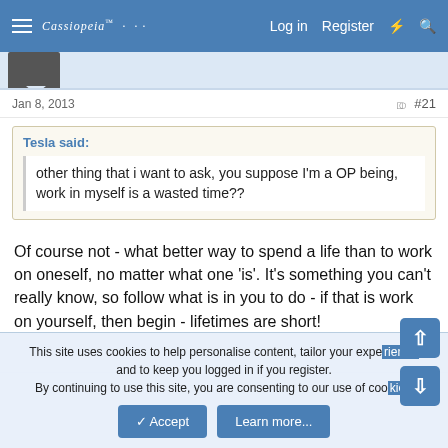Log in  Register
Jan 8, 2013  #21
Tesla said:
other thing that i want to ask, you suppose I'm a OP being, work in myself is a wasted time??
Of course not - what better way to spend a life than to work on oneself, no matter what one 'is'. It's something you can't really know, so follow what is in you to do - if that is work on yourself, then begin - lifetimes are short!
This site uses cookies to help personalise content, tailor your experience and to keep you logged in if you register.
By continuing to use this site, you are consenting to our use of cookies.
Accept  Learn more...